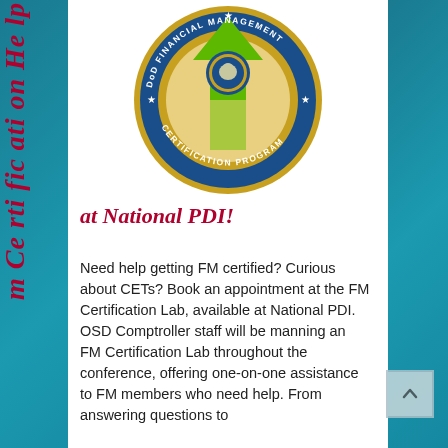m Certification Help at National PDI!
[Figure (logo): DoD Financial Management Certification Program circular badge/seal with green upward arrow and Department of Defense seal in center, gold border, blue ring with text 'DoD FINANCIAL MANAGEMENT CERTIFICATION PROGRAM']
at National PDI!
Need help getting FM certified? Curious about CETs? Book an appointment at the FM Certification Lab, available at National PDI. OSD Comptroller staff will be manning an FM Certification Lab throughout the conference, offering one-on-one assistance to FM members who need help. From answering questions to